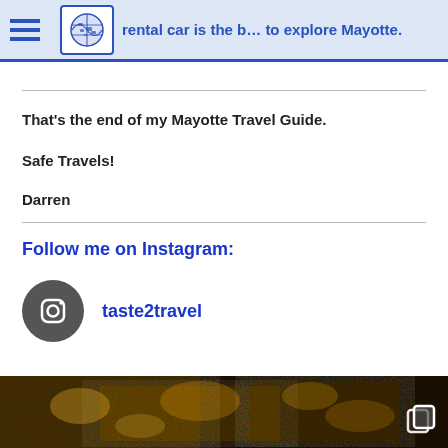rental car is the b… to explore Mayotte.
That's the end of my Mayotte Travel Guide.
Safe Travels!
Darren
Follow me on Instagram:
taste2travel
[Figure (photo): Dark golden-brown textured photo strip at bottom of page, with a copy/stack icon in bottom-right corner]